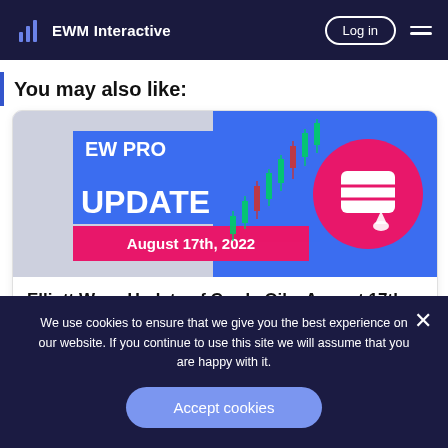EWM Interactive | Log in
You may also like:
[Figure (illustration): EW PRO UPDATE August 17th, 2022 banner with candlestick chart and oil barrel icon on pink circle]
Elliott Wave Update of Crude Oil – August 17th, 2022
We use cookies to ensure that we give you the best experience on our website. If you continue to use this site we will assume that you are happy with it.